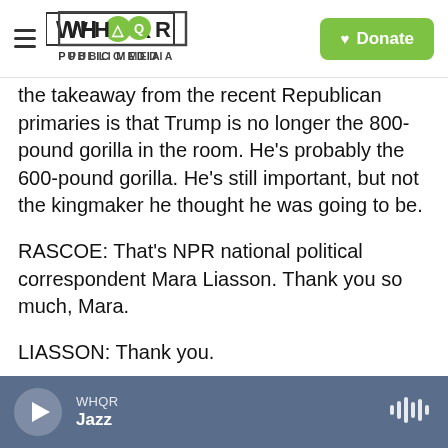WHQR PUBLIC MEDIA | Donate
the takeaway from the recent Republican primaries is that Trump is no longer the 800-pound gorilla in the room. He's probably the 600-pound gorilla. He's still important, but not the kingmaker he thought he was going to be.
RASCOE: That's NPR national political correspondent Mara Liasson. Thank you so much, Mara.
LIASSON: Thank you.
(SOUNDBITE OF CORBIN ROE, MAYNE AND NICXIX'S "DRIP") Transcript provided by NPR,
WHQR Jazz